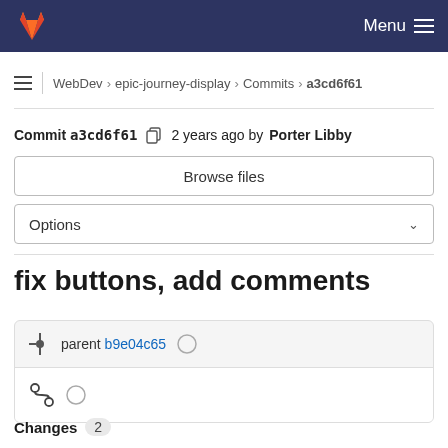Menu
WebDev › epic-journey-display › Commits › a3cd6f61
Commit a3cd6f61  2 years ago by Porter Libby
Browse files
Options
fix buttons, add comments
parent b9e04c65
Changes 2